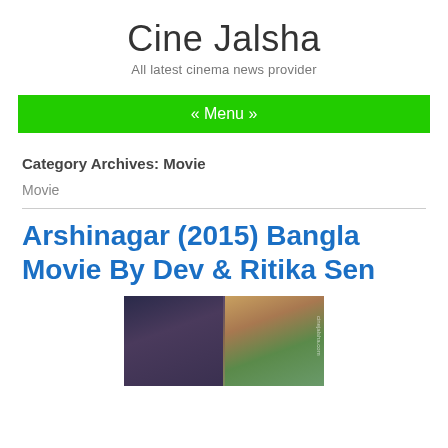Cine Jalsha
All latest cinema news provider
« Menu »
Category Archives: Movie
Movie
Arshinagar (2015) Bangla Movie By Dev & Ritika Sen
[Figure (photo): Two-part photo showing a male actor on the left and a female actress in a green outfit on the right]